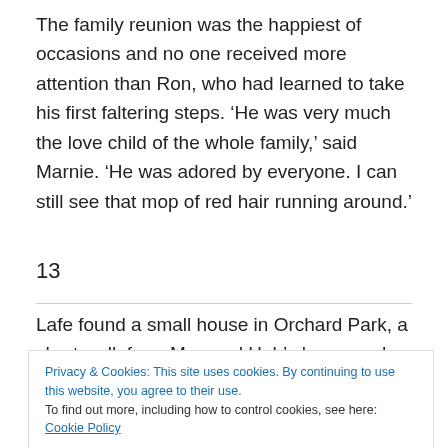The family reunion was the happiest of occasions and no one received more attention than Ron, who had learned to take his first faltering steps. ‘He was very much the love child of the whole family,’ said Marnie. ‘He was adored by everyone. I can still see that mop of red hair running around.’
13
Lafe found a small house in Orchard Park, a short walk from May and Hub’s home and only a block from the
Privacy & Cookies: This site uses cookies. By continuing to use this website, you agree to their use.
To find out more, including how to control cookies, see here: Cookie Policy
Close and accept
for the long-suffering and widely-travelled Star. Marnie and